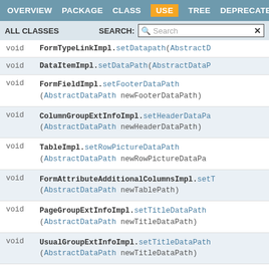OVERVIEW  PACKAGE  CLASS  USE  TREE  DEPRECATED
ALL CLASSES   SEARCH:
|  |  |
| --- | --- |
| void | FormTypeLinkImpl.setDatapath(AbstractD… |
| void | DataItemImpl.setDataPath(AbstractDataP… |
| void | FormFieldImpl.setFooterDataPath
(AbstractDataPath newFooterDataPath) |
| void | ColumnGroupExtInfoImpl.setHeaderDataPa…
(AbstractDataPath newHeaderDataPath) |
| void | TableImpl.setRowPictureDataPath
(AbstractDataPath newRowPictureDataPa… |
| void | FormAttributeAdditionalColumnsImpl.setT…
(AbstractDataPath newTablePath) |
| void | PageGroupExtInfoImpl.setTitleDataPath
(AbstractDataPath newTitleDataPath) |
| void | UsualGroupExtInfoImpl.setTitleDataPath
(AbstractDataPath newTitleDataPath) |